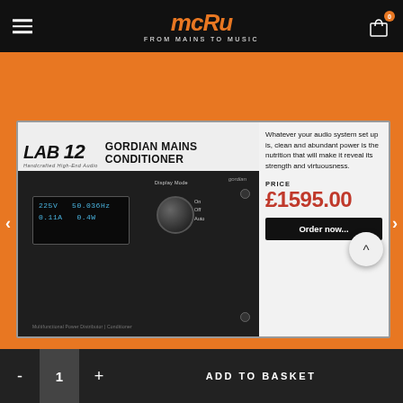MCRu — From Mains to Music
ASK A QUESTION
[Figure (photo): Lab 12 Gordian Mains Conditioner product card showing the device with a display reading 225V 50.036Hz 0.11A 0.4W, a knob labeled Display Mode with On/Off/Auto options, and product details with price £1595.00 and Order now button]
Whatever your audio system set up is, clean and abundant power is the nutrition that will make it reveal its strength and virtuousness.
PRICE
£1595.00
Order now...
ADD TO BASKET